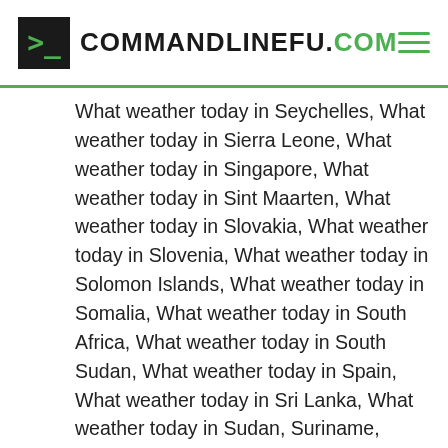COMMANDLINEFU.COM
What weather today in Seychelles, What weather today in Sierra Leone, What weather today in Singapore, What weather today in Sint Maarten, What weather today in Slovakia, What weather today in Slovenia, What weather today in Solomon Islands, What weather today in Somalia, What weather today in South Africa, What weather today in South Sudan, What weather today in Spain, What weather today in Sri Lanka, What weather today in Sudan, Suriname, What weather today in Swaziland, What weather today in Sweden, What weather today in Switzerland, What weather today in Syria, What weather today in Taiwan, What weather today in Tajikistan, What weather today in Tanzania, What weather today in Thailand, What weather today in Timor-Leste, What weather today in Togo, What weather today in Tokelau, What weather today in Tonga, What weather today